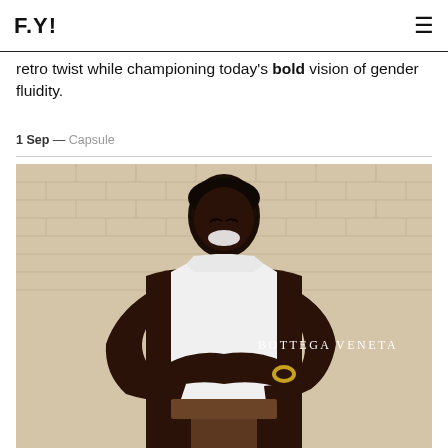F.Y! [logo] [hamburger menu]
retro twist while championing today's bold vision of gender fluidity.
1 Sep — Capsule
[Figure (photo): A smiling Black model with short hair wearing a white tank top and brown pants, arms crossed, seated in front of a beige brick wall. A gold bracelet is visible on one wrist. The Bottega Veneta logo is overlaid in white serif text.]